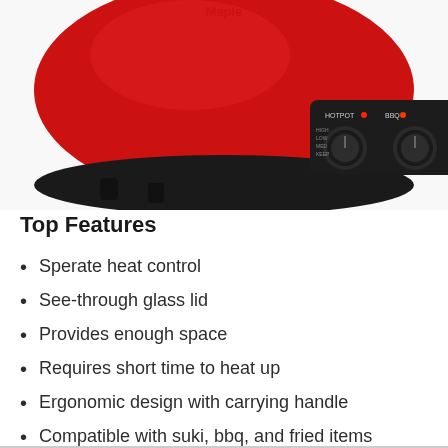[Figure (photo): Red Mapler electric hotpot and BBQ appliance with black control panel showing two rotary knobs labeled HOTPOT and BBQ with indicator lights, viewed from above at an angle showing the top portion of the device on a white background.]
Top Features
Sperate heat control
See-through glass lid
Provides enough space
Requires short time to heat up
Ergonomic design with carrying handle
Compatible with suki, bbq, and fried items